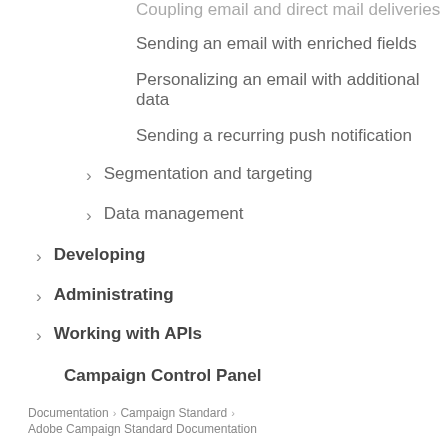Coupling email and direct mail deliveries
Sending an email with enriched fields
Personalizing an email with additional data
Sending a recurring push notification
Segmentation and targeting
Data management
Developing
Administrating
Working with APIs
Campaign Control Panel
Documentation > Campaign Standard > Adobe Campaign Standard Documentation